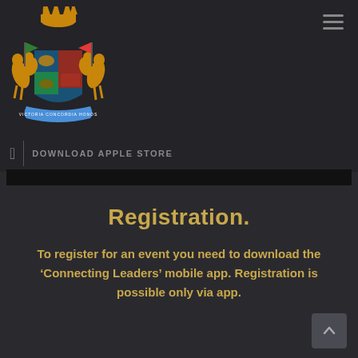[Figure (logo): Coat of arms / heraldic crest with two horses, lions, shield, crown, and banner reading VICTORIA CONCORDIA HONOS]
DOWNLOAD APPLE STORE
Registration.
To register for an event you need to download the ‘Connecting Leaders’ mobile app. Registration is possible only via app.